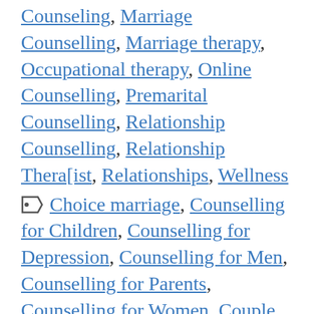Counseling, Marriage Counselling, Marriage therapy, Occupational therapy, Online Counselling, Premarital Counselling, Relationship Counselling, Relationship Therapist, Relationships, Wellness
Tags: Choice marriage, Counselling for Children, Counselling for Depression, Counselling for Men, Counselling for Parents, Counselling for Women, Couple Counselling, Couple therapy, Love marriage, Marital Counselling, Marital counsellor, Marital therapist, Marital therapy, Marriage Counseling, Marriage Counselling, Marriage therapist, Parents on love marriage, Post partum Depression, Premarital advice, Premarital counselling, Premarital